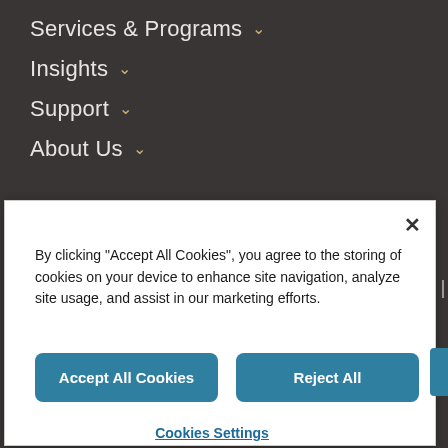Services & Programs ∨
Insights ∨
Support ∨
About Us ∨
By clicking "Accept All Cookies", you agree to the storing of cookies on your device to enhance site navigation, analyze site usage, and assist in our marketing efforts.
Accept All Cookies
Reject All
Cookies Settings